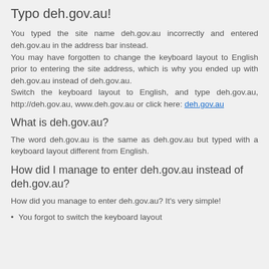Typo deh.gov.au!
You typed the site name deh.gov.au incorrectly and entered deh.gov.au in the address bar instead.
You may have forgotten to change the keyboard layout to English prior to entering the site address, which is why you ended up with deh.gov.au instead of deh.gov.au.
Switch the keyboard layout to English, and type deh.gov.au, http://deh.gov.au, www.deh.gov.au or click here: deh.gov.au
What is deh.gov.au?
The word deh.gov.au is the same as deh.gov.au but typed with a keyboard layout different from English.
How did I manage to enter deh.gov.au instead of deh.gov.au?
How did you manage to enter deh.gov.au? It's very simple!
You forgot to switch the keyboard layout